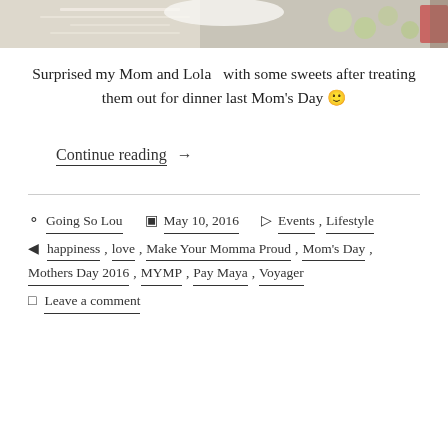[Figure (photo): Top portion of a photo showing food items on a decorative surface, cropped at top of page]
Surprised my Mom and Lola  with some sweets after treating them out for dinner last Mom's Day 🙂
Continue reading →
Going So Lou  May 10, 2016  Events, Lifestyle  happiness, love, Make Your Momma Proud, Mom's Day, Mothers Day 2016, MYMP, Pay Maya, Voyager  Leave a comment